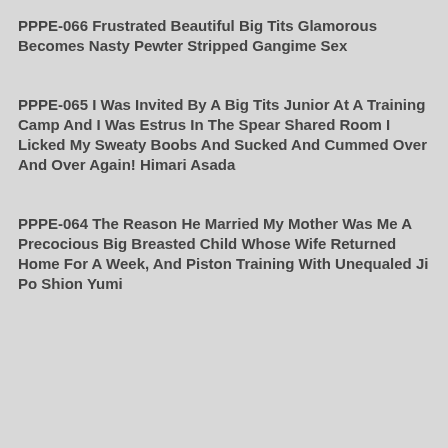PPPE-066 Frustrated Beautiful Big Tits Glamorous Becomes Nasty Pewter Stripped Gangime Sex
PPPE-065 I Was Invited By A Big Tits Junior At A Training Camp And I Was Estrus In The Spear Shared Room I Licked My Sweaty Boobs And Sucked And Cummed Over And Over Again! Himari Asada
PPPE-064 The Reason He Married My Mother Was Me A Precocious Big Breasted Child Whose Wife Returned Home For A Week, And Piston Training With Unequaled Ji Po Shion Yumi